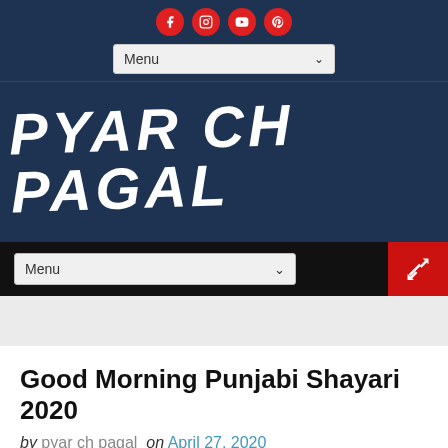Social icons: Facebook, Instagram, YouTube, Pinterest — Menu dropdown
PYAR CH PAGAL
Menu — shuffle button
[Figure (other): Advertisement/banner grey area]
Good Morning Punjabi Shayari 2020
by pyar ch pagal  on April 27, 2020